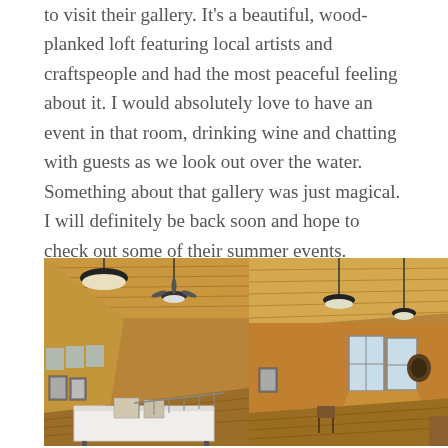to visit their gallery. It's a beautiful, wood-planked loft featuring local artists and craftspeople and had the most peaceful feeling about it. I would absolutely love to have an event in that room, drinking wine and chatting with guests as we look out over the water. Something about that gallery was just magical. I will definitely be back soon and hope to check out some of their summer events.
[Figure (photo): Interior of a wood-planked loft gallery space showing wooden ceiling, pendant lights (one large barn light and a smaller one with fan), framed artwork along the wall, windows, and a table with white tablecloth in the foreground.]
[Figure (photo): Interior of the same wood-planked loft gallery space from a different angle, showing the wooden ceiling, pendant lights, large windows letting in natural light, hardwood floors, and sparse furnishings.]